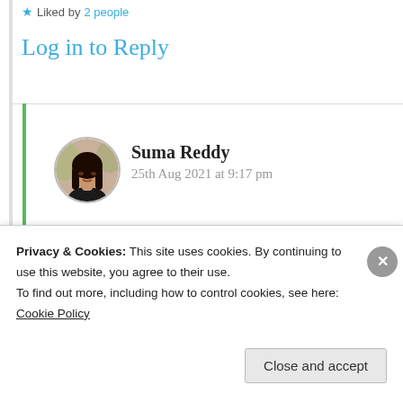★ Liked by 2 people
Log in to Reply
[Figure (photo): Circular avatar photo of Suma Reddy, a woman with dark hair]
Suma Reddy
25th Aug 2021 at 9:17 pm
Thank you very much 😊 🙏
★ Like
Privacy & Cookies: This site uses cookies. By continuing to use this website, you agree to their use.
To find out more, including how to control cookies, see here: Cookie Policy
Close and accept